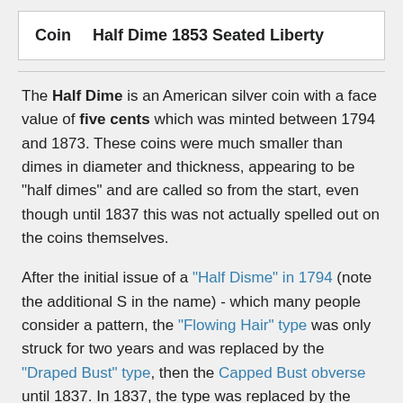| Coin | Half Dime 1853 Seated Liberty |
| --- | --- |
The Half Dime is an American silver coin with a face value of five cents which was minted between 1794 and 1873. These coins were much smaller than dimes in diameter and thickness, appearing to be "half dimes" and are called so from the start, even though until 1837 this was not actually spelled out on the coins themselves.
After the initial issue of a "Half Disme" in 1794 (note the additional S in the name) - which many people consider a pattern, the "Flowing Hair" type was only struck for two years and was replaced by the "Draped Bust" type, then the Capped Bust obverse until 1837. In 1837, the type was replaced by the Seated Liberty type, and composition was changed to 90% silver and 10% copper. The weight was 1.34 grams initially, then changed to 1.24 grams in 1853.
The Seated Liberty portrait designs appeared on most ...